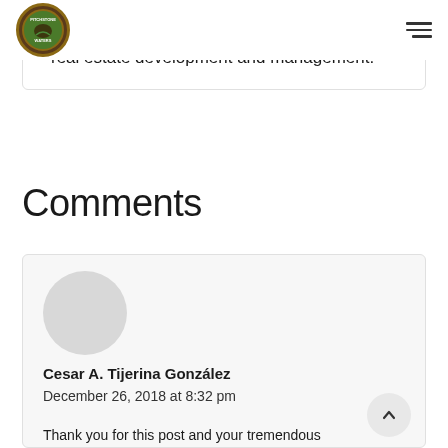Pitchstone Waters logo and navigation
real estate development and management.
Comments
Cesar A. Tijerina González
December 26, 2018 at 8:32 pm
Thank you for this post and your tremendous
Thank you for this post and your tremendous